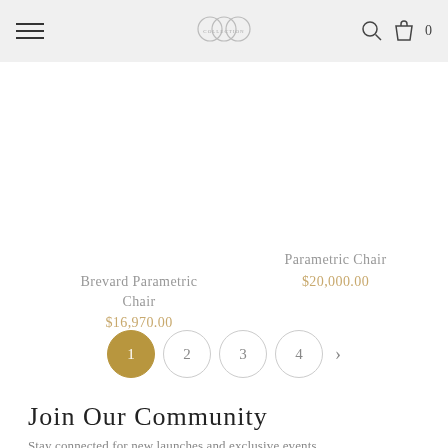[Figure (screenshot): Website header with hamburger menu on left, logo in center, search icon and bag icon with 0 on right, on light gray background]
Brevard Parametric Chair
$16,970.00
Parametric Chair
$20,000.00
[Figure (other): Pagination controls: page 1 (active, gold filled circle), pages 2, 3, 4 (empty circles), and a right arrow]
Join Our Community
Stay connected for new launches and exclusive events